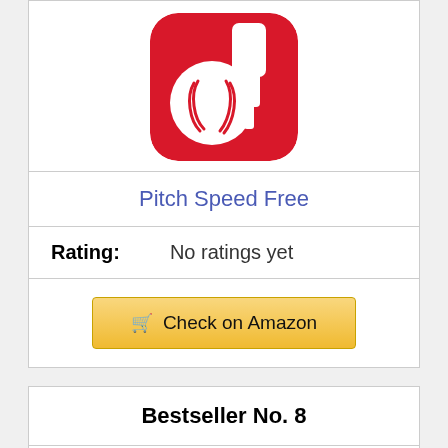[Figure (logo): App icon: red rounded square with white baseball and hand/tool graphic (Pitch Speed Free app icon)]
Pitch Speed Free
Rating: No ratings yet
Check on Amazon
Bestseller No. 8